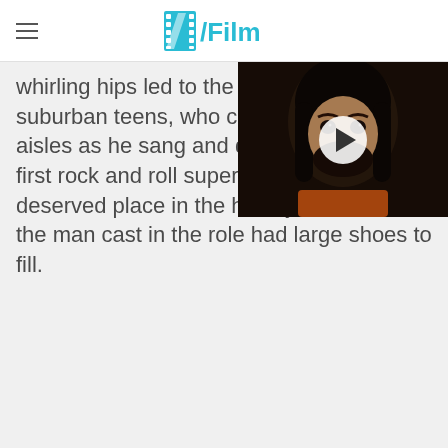/Film
whirling hips led to the sexu... suburban teens, who cried a... aisles as he sang and dance... first rock and roll superstars... deserved place in the history of music, so the man cast in the role had large shoes to fill.
[Figure (screenshot): Video player overlay showing a man with long dark hair and beard, with a white play button in the center. Close button (X) in top right corner.]